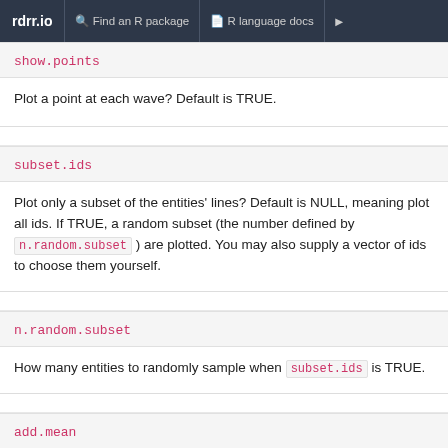rdrr.io  Find an R package  R language docs
show.points
Plot a point at each wave? Default is TRUE.
subset.ids
Plot only a subset of the entities' lines? Default is NULL, meaning plot all ids. If TRUE, a random subset (the number defined by n.random.subset ) are plotted. You may also supply a vector of ids to choose them yourself.
n.random.subset
How many entities to randomly sample when subset.ids is TRUE.
add.mean